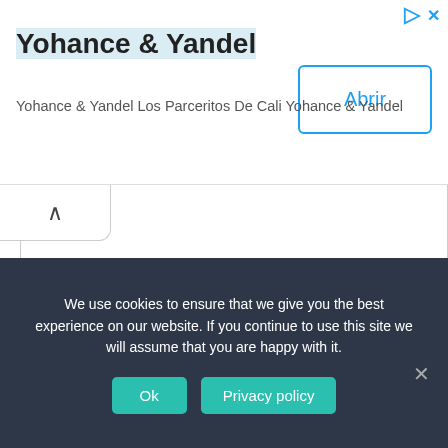Yohance & Yandel
Yohance & Yandel Los Parceritos De Cali Yohance & Yandel
We use cookies to ensure that we give you the best experience on our website. If you continue to use this site we will assume that you are happy with it.